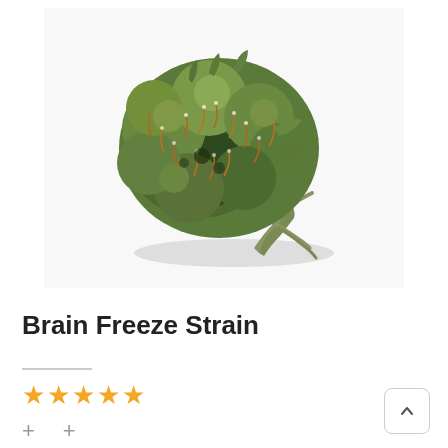[Figure (photo): Close-up photograph of a cannabis bud (Brain Freeze Strain) on a white background. The bud is large and dense, showing green, brown, and red/orange pistil colors with visible trichomes. The stem is visible at the bottom right.]
Brain Freeze Strain
[Figure (other): Five gold/yellow star rating icons indicating a 5-star review rating]